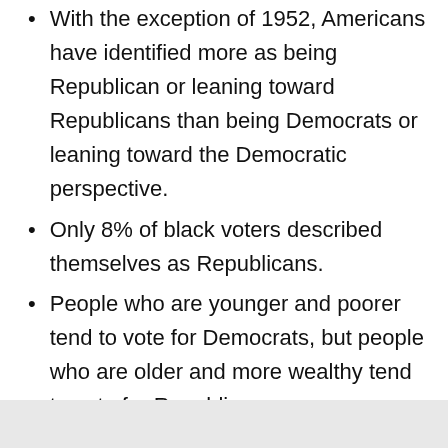With the exception of 1952, Americans have identified more as being Republican or leaning toward Republicans than being Democrats or leaning toward the Democratic perspective.
Only 8% of black voters described themselves as Republicans.
People who are younger and poorer tend to vote for Democrats, but people who are older and more wealthy tend to vote for Republicans.
College graduates historically tend to support both parties equally.